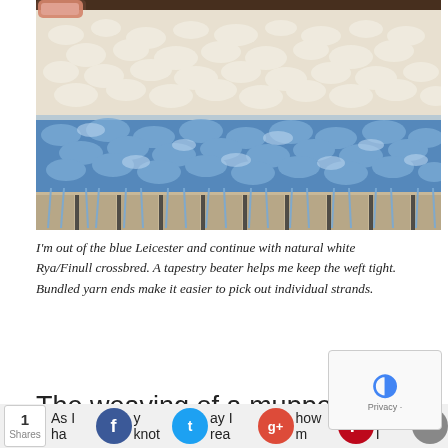[Figure (photo): Close-up photograph of a woven textile showing curly/loopy yarn texture. The top portion shows natural white/cream colored yarn loops, the middle shows vibrant blue (Leicester wool) curly yarn, and the bottom shows fringe hanging against a wooden background. A pink/coral colored object (possibly a tool) is visible at the top left.]
I'm out of the blue Leicester and continue with natural white Rya/Finull crossbred. A tapestry beater helps me keep the weft tight. Bundled yarn ends make it easier to pick out individual strands.
The weaving of a muppet
As I ha... y knot... ay I rea... how m... yarn I ... need